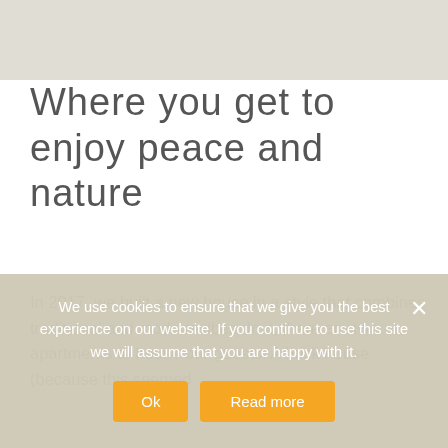Where you get to enjoy peace and nature
In 2017, we built a new house in a style that combines traditional and modern vibes. In it, there are two apartments to house our guests. A brick house (because this seemed
We use cookies to ensure that we give you the best experience on our website. If you continue to use this site we will assume that you are happy with it.